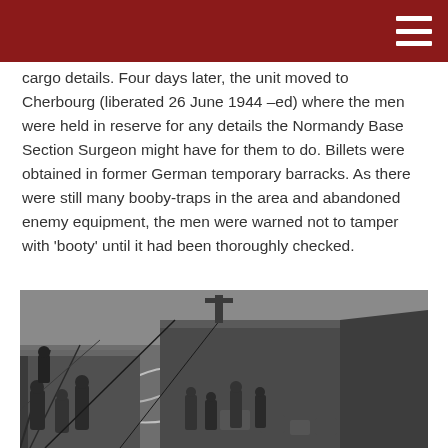cargo details. Four days later, the unit moved to Cherbourg (liberated 26 June 1944 –ed) where the men were held in reserve for any details the Normandy Base Section Surgeon might have for them to do. Billets were obtained in former German temporary barracks. As there were still many booby-traps in the area and abandoned enemy equipment, the men were warned not to tamper with 'booty' until it had been thoroughly checked.
[Figure (photo): Black and white photograph of soldiers on the deck of a military vessel in rough seas, with equipment and rigging visible.]